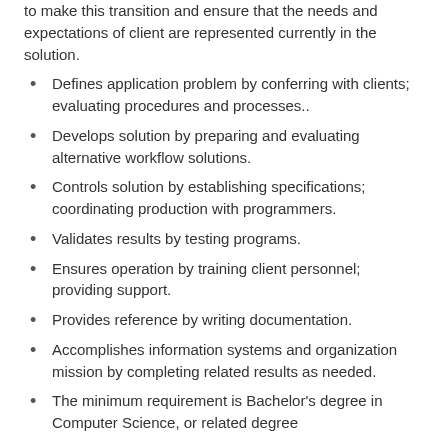to make this transition and ensure that the needs and expectations of client are represented currently in the solution.
Defines application problem by conferring with clients; evaluating procedures and processes..
Develops solution by preparing and evaluating alternative workflow solutions.
Controls solution by establishing specifications; coordinating production with programmers.
Validates results by testing programs.
Ensures operation by training client personnel; providing support.
Provides reference by writing documentation.
Accomplishes information systems and organization mission by completing related results as needed.
The minimum requirement is Bachelor's degree in Computer Science, or related degree
Software Developer